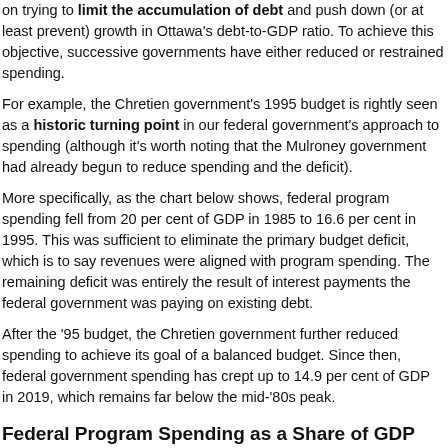on trying to limit the accumulation of debt and push down (or at least prevent) growth in Ottawa's debt-to-GDP ratio. To achieve this objective, successive governments have either reduced or restrained spending.
For example, the Chretien government's 1995 budget is rightly seen as a historic turning point in our federal government's approach to spending (although it's worth noting that the Mulroney government had already begun to reduce spending and the deficit).
More specifically, as the chart below shows, federal program spending fell from 20 per cent of GDP in 1985 to 16.6 per cent in 1995. This was sufficient to eliminate the primary budget deficit, which is to say revenues were aligned with program spending. The remaining deficit was entirely the result of interest payments the federal government was paying on existing debt.
After the '95 budget, the Chretien government further reduced spending to achieve its goal of a balanced budget. Since then, federal government spending has crept up to 14.9 per cent of GDP in 2019, which remains far below the mid-'80s peak.
Federal Program Spending as a Share of GDP
[Figure (continuous-plot): Chart showing Federal Program Spending as a Share of GDP, with a 20% gridline visible at the top of the chart area. The chart is partially cut off at the bottom of the page.]